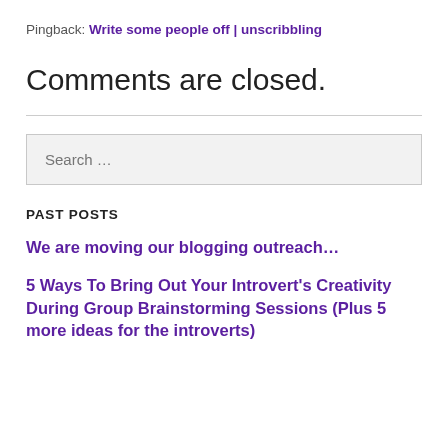Pingback: Write some people off | unscribbling
Comments are closed.
Search …
PAST POSTS
We are moving our blogging outreach…
5 Ways To Bring Out Your Introvert's Creativity During Group Brainstorming Sessions (Plus 5 more ideas for the introverts)